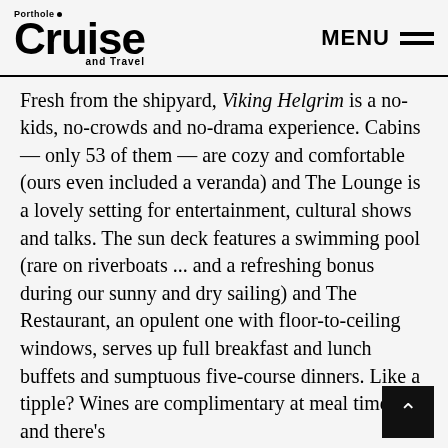Porthole Cruise and Travel — MENU
Fresh from the shipyard, Viking Helgrim is a no-kids, no-crowds and no-drama experience. Cabins — only 53 of them — are cozy and comfortable (ours even included a veranda) and The Lounge is a lovely setting for entertainment, cultural shows and talks. The sun deck features a swimming pool (rare on riverboats ... and a refreshing bonus during our sunny and dry sailing) and The Restaurant, an opulent one with floor-to-ceiling windows, serves up full breakfast and lunch buffets and sumptuous five-course dinners. Like a tipple? Wines are complimentary at meal times — and there's